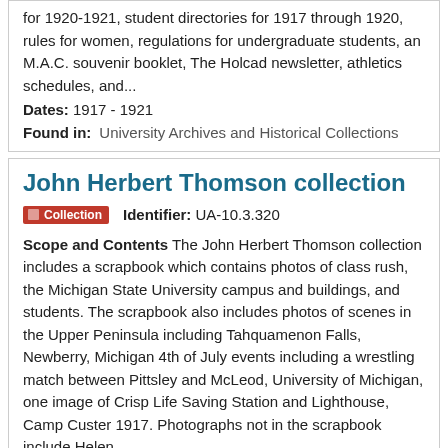for 1920-1921, student directories for 1917 through 1920, rules for women, regulations for undergraduate students, an M.A.C. souvenir booklet, The Holcad newsletter, athletics schedules, and...
Dates: 1917 - 1921
Found in: University Archives and Historical Collections
John Herbert Thomson collection
Collection   Identifier: UA-10.3.320
Scope and Contents The John Herbert Thomson collection includes a scrapbook which contains photos of class rush, the Michigan State University campus and buildings, and students. The scrapbook also includes photos of scenes in the Upper Peninsula including Tahquamenon Falls, Newberry, Michigan 4th of July events including a wrestling match between Pittsley and McLeod, University of Michigan, one image of Crisp Life Saving Station and Lighthouse, Camp Custer 1917. Photographs not in the scrapbook include Helen...
Dates: 1897, 1917-1992